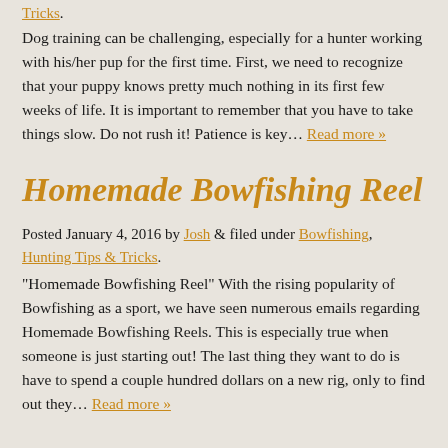Tricks.
Dog training can be challenging, especially for a hunter working with his/her pup for the first time. First, we need to recognize that your puppy knows pretty much nothing in its first few weeks of life. It is important to remember that you have to take things slow. Do not rush it! Patience is key… Read more »
Homemade Bowfishing Reel
Posted January 4, 2016 by Josh & filed under Bowfishing, Hunting Tips & Tricks.
“Homemade Bowfishing Reel” With the rising popularity of Bowfishing as a sport, we have seen numerous emails regarding Homemade Bowfishing Reels. This is especially true when someone is just starting out! The last thing they want to do is have to spend a couple hundred dollars on a new rig, only to find out they… Read more »